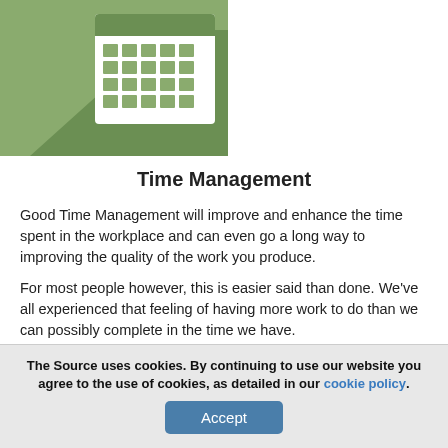[Figure (illustration): Green square icon with a calendar/grid symbol on it, shown in the upper left area of the page]
Time Management
Good Time Management will improve and enhance the time spent in the workplace and can even go a long way to improving the quality of the work you produce.
For most people however, this is easier said than done. We've all experienced that feeling of having more work to do than we can possibly complete in the time we have.
This can lead to increased stress… dissatisfaction… and demoralisation…
This course can help, by introducing you to some of the theories and techniques of time management that can really make a difference.
The Source uses cookies. By continuing to use our website you agree to the use of cookies, as detailed in our cookie policy. Accept